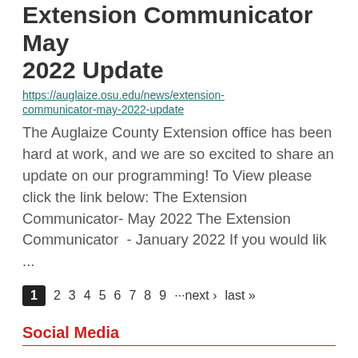Extension Communicator  May 2022 Update
https://auglaize.osu.edu/news/extension-communicator-may-2022-update
The Auglaize County Extension office has been hard at work, and we are so excited to share an update on our programming! To View please click the link below: The Extension Communicator- May 2022 The Extension Communicator  - January 2022 If you would lik ...
1 2 3 4 5 6 7 8 9 ···next › last »
Social Media